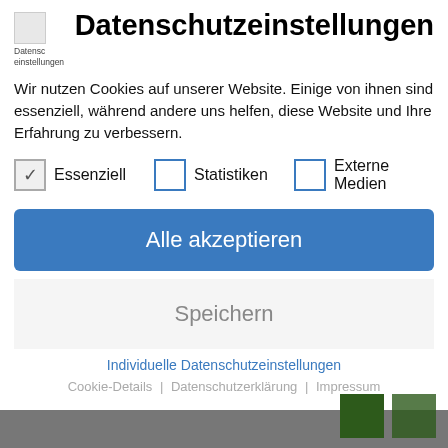[Figure (logo): Broken image placeholder with text 'Datenschutzeinstellungen' below it]
Datenschutzeinstellungen
Wir nutzen Cookies auf unserer Website. Einige von ihnen sind essenziell, während andere uns helfen, diese Website und Ihre Erfahrung zu verbessern.
Essenziell (checked)
Statistiken (unchecked)
Externe Medien (unchecked)
Alle akzeptieren
Speichern
Individuelle Datenschutzeinstellungen
Cookie-Details | Datenschutzerklärung | Impressum